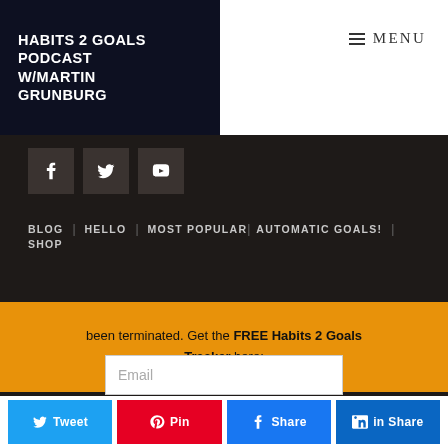HABITS 2 GOALS PODCAST W/MARTIN GRUNBURG
≡ MENU
[Figure (other): Social media icon buttons: Facebook, Twitter, YouTube on dark background]
BLOG | HELLO | MOST POPULAR | AUTOMATIC GOALS! | SHOP
been terminated. Get the FREE Habits 2 Goals Tracker here:
Email
Tweet | Pin | Share | Share (social share buttons)